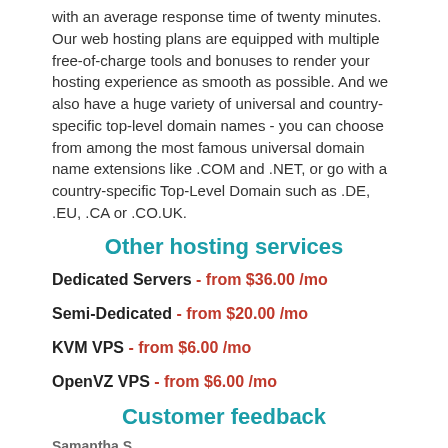with an average response time of twenty minutes. Our web hosting plans are equipped with multiple free-of-charge tools and bonuses to render your hosting experience as smooth as possible. And we also have a huge variety of universal and country-specific top-level domain names - you can choose from among the most famous universal domain name extensions like .COM and .NET, or go with a country-specific Top-Level Domain such as .DE, .EU, .CA or .CO.UK.
Other hosting services
Dedicated Servers - from $36.00 /mo
Semi-Dedicated - from $20.00 /mo
KVM VPS - from $6.00 /mo
OpenVZ VPS - from $6.00 /mo
Customer feedback
Samantha S.